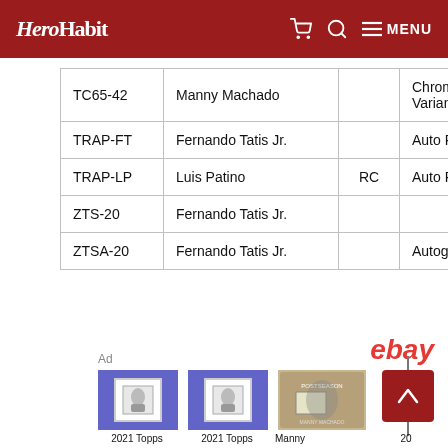HeroHabit — MENU
|  |  |  |  |
| --- | --- | --- | --- |
| TC65-42 | Manny Machado |  | Chrome Variant |
| TRAP-FT | Fernando Tatis Jr. |  | Auto Relic |
| TRAP-LP | Luis Patino | RC | Auto Relic |
| ZTS-20 | Fernando Tatis Jr. |  |  |
| ZTSA-20 | Fernando Tatis Jr. |  | Autograph |
Ad
[Figure (logo): eBay logo in red italic text]
[Figure (photo): 2021 Topps baseball card product image on blue background]
2021 Topps
[Figure (photo): 2021 Topps baseball card product image on blue background]
2021 Topps
[Figure (photo): Manny baseball card on tan/gold background]
Manny
20